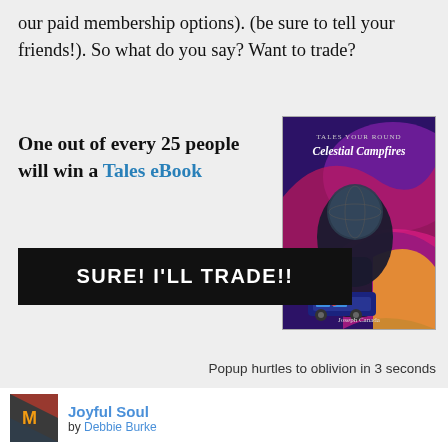our paid membership options). (be sure to tell your friends!). So what do you say? Want to trade?
One out of every 25 people will win a Tales eBook
[Figure (illustration): Book cover for 'Celestial Campfires' by Joseph Canada - dark purple/magenta cover with illustrated hand holding globe, VW bus at bottom]
SURE! I'LL TRADE!!
Popup hurtles to oblivion in 3 seconds
Joyful Soul
by Debbie Burke
I knew of but was not familiar with Klezmer before reading this book which is a brief history and several bios of notable modern klezmerites.